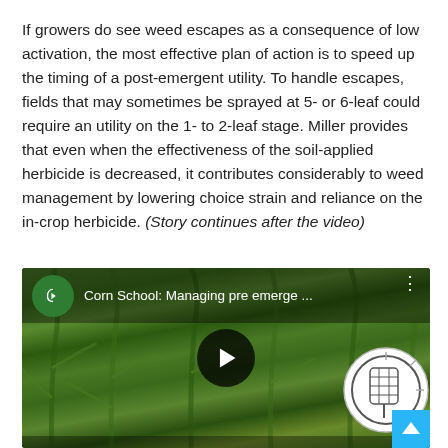If growers do see weed escapes as a consequence of low activation, the most effective plan of action is to speed up the timing of a post-emergent utility. To handle escapes, fields that may sometimes be sprayed at 5- or 6-leaf could require an utility on the 1- to 2-leaf stage. Miller provides that even when the effectiveness of the soil-applied herbicide is decreased, it contributes considerably to weed management by lowering choice strain and reliance on the in-crop herbicide. (Story continues after the video)
[Figure (screenshot): YouTube video embed thumbnail showing corn field with title 'Corn School: Managing pre emerge ...' and a play button in the center. A green circle channel icon with a leaf is visible at top left.]